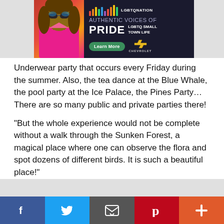[Figure (screenshot): LGBTQ Nation advertisement banner with person in pink top, rainbow sound wave bars, text 'AUTHENTIC VOICES OF PRIDE LGBTQ SMALL TOWN LIFE', Learn More button, Chevrolet logo]
Underwear party that occurs every Friday during the summer. Also, the tea dance at the Blue Whale, the pool party at the Ice Palace, the Pines Party… There are so many public and private parties there!
“But the whole experience would not be complete without a walk through the Sunken Forest, a magical place where one can observe the flora and spot dozens of different birds. It is such a beautiful place!”
[Figure (photo): Partial photo showing a pink/magenta horizontal bar object on a light gray surface]
Social share bar with Facebook, Twitter, Email, Pinterest, and plus buttons